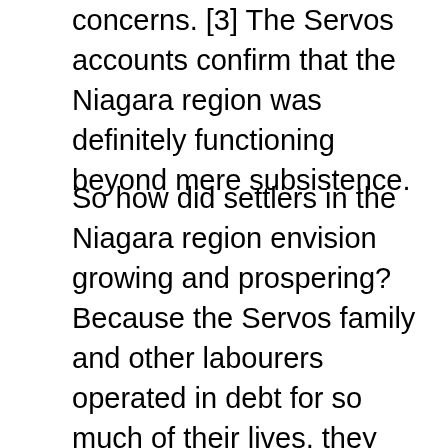concerns. [3] The Servos accounts confirm that the Niagara region was definitely functioning beyond mere subsistence.
So how did settlers in the Niagara region envision growing and prospering? Because the Servos family and other labourers operated in debt for so much of their lives, they were motivated to work towards building capital assets over a long period of time, rather than accumulating income. This meant stability for the future despite market fluctuations of staple exports. We also know that cash was scarce at this time, so debts were usually repaid via barter or personal labour. This is not to say that there was no money to be found... in fact, most Loyalists acquired money from the British government approximately 5-10 years after the war, helping them invest in capital projects like building mills, houses, shops, etc. [4] This included money from war loss claims, officer's half pay, and annual salaries of Indian